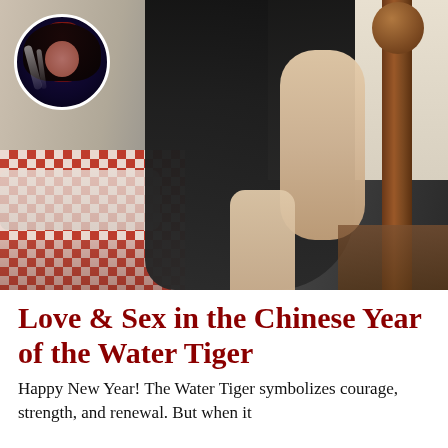[Figure (photo): A woman in a black pinstripe dress/outfit standing near a wooden bed with a red and white quilt. A circular avatar image of a woman with dark hair is overlaid in the top-left corner.]
Love & Sex in the Chinese Year of the Water Tiger
Happy New Year! The Water Tiger symbolizes courage, strength, and renewal. But when it